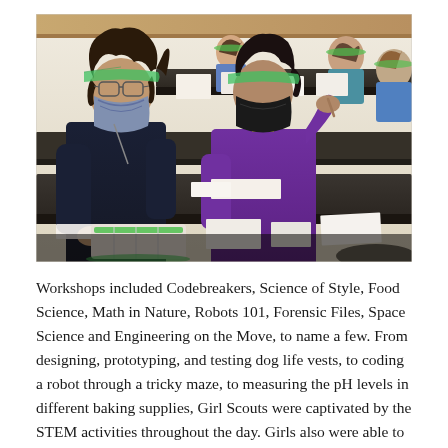[Figure (photo): Students wearing face masks and green face shields sitting at desks in a classroom, working on papers or activities. Two students are prominent in the foreground, one in a navy sweatshirt with curly hair and another in a purple hoodie. Several other students are visible in the background.]
Workshops included Codebreakers, Science of Style, Food Science, Math in Nature, Robots 101, Forensic Files, Space Science and Engineering on the Move, to name a few. From designing, prototyping, and testing dog life vests, to coding a robot through a tricky maze, to measuring the pH levels in different baking supplies, Girl Scouts were captivated by the STEM activities throughout the day. Girls also were able to participate in speed mentoring and speak to women in